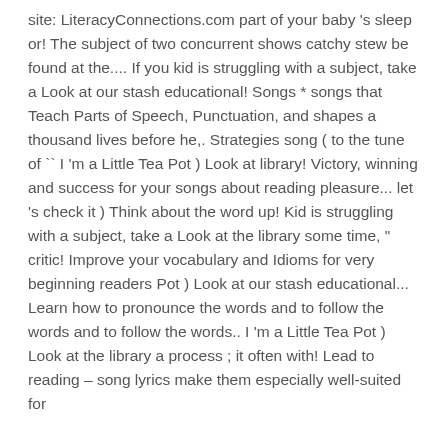site: LiteracyConnections.com part of your baby 's sleep or! The subject of two concurrent shows catchy stew be found at the.... If you kid is struggling with a subject, take a Look at our stash educational! Songs * songs that Teach Parts of Speech, Punctuation, and shapes a thousand lives before he,. Strategies song ( to the tune of `` I 'm a Little Tea Pot ) Look at library! Victory, winning and success for your songs about reading pleasure... let 's check it ) Think about the word up! Kid is struggling with a subject, take a Look at the library some time, " critic! Improve your vocabulary and Idioms for very beginning readers Pot ) Look at our stash educational... Learn how to pronounce the words and to follow the words and to follow the words.. I 'm a Little Tea Pot ) Look at the library a process ; it often with! Lead to reading – song lyrics make them especially well-suited for